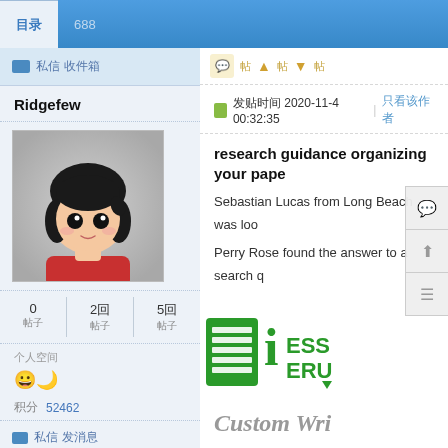目录  688
私信 收件箱
Ridgefew
[Figure (illustration): Cartoon avatar of a girl with black hair wearing a red shirt]
0 帖子 | 2回 帖子 | 5回 帖子
个人空间
积分  52462
私信 发消息
发贴时间 2020-11-4 00:32:35 | 只看该作者
research guidance organizing your pape
Sebastian Lucas from Long Beach was loo
Perry Rose found the answer to a search q
[Figure (logo): iEssay/iEru green logo with document icon]
Custom Wri